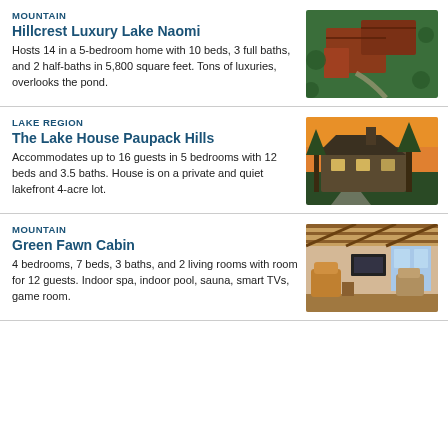MOUNTAIN
Hillcrest Luxury Lake Naomi
Hosts 14 in a 5-bedroom home with 10 beds, 3 full baths, and 2 half-baths in 5,800 square feet. Tons of luxuries, overlooks the pond.
[Figure (photo): Aerial view of large luxury home with red/brown roof surrounded by trees]
LAKE REGION
The Lake House Paupack Hills
Accommodates up to 16 guests in 5 bedrooms with 12 beds and 3.5 baths. House is on a private and quiet lakefront 4-acre lot.
[Figure (photo): Log cabin style lake house at dusk with golden sky and trees]
MOUNTAIN
Green Fawn Cabin
4 bedrooms, 7 beds, 3 baths, and 2 living rooms with room for 12 guests. Indoor spa, indoor pool, sauna, smart TVs, game room.
[Figure (photo): Interior of cabin with wood beam ceiling, living room with chairs]